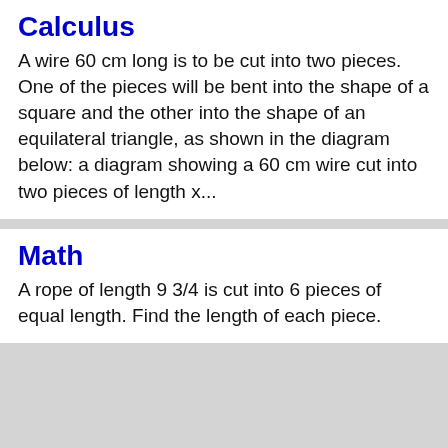Calculus
A wire 60 cm long is to be cut into two pieces. One of the pieces will be bent into the shape of a square and the other into the shape of an equilateral triangle, as shown in the diagram below: a diagram showing a 60 cm wire cut into two pieces of length x...
Math
A rope of length 9 3/4 is cut into 6 pieces of equal length. Find the length of each piece.